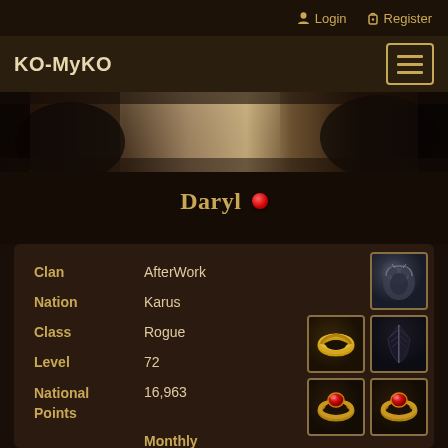Login  Register
KO-MyKO
[Figure (screenshot): Dark fantasy game banner with armored figures on left and right, lighter sky in center]
Daryl 🔴
| Field | Value |
| --- | --- |
| Clan | AfterWork |
| Nation | Karus |
| Class | Rogue |
| Level | 72 |
| National Points | 16,963 |
|  | Monthly NP |
[Figure (illustration): Game character equipment icons: armor (top right), two rings and a feather (middle row), two red gem rings (bottom row)]